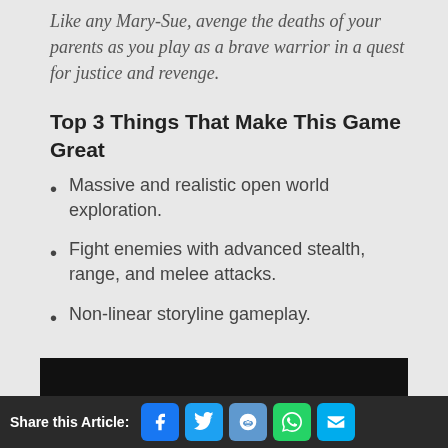Like any Mary-Sue, avenge the deaths of your parents as you play as a brave warrior in a quest for justice and revenge.
Top 3 Things That Make This Game Great
Massive and realistic open world exploration.
Fight enemies with advanced stealth, range, and melee attacks.
Non-linear storyline gameplay.
[Figure (other): Black bar image/video thumbnail at the bottom of the article content area.]
Share this Article: [Facebook] [Twitter] [Reddit] [WhatsApp] [Email]